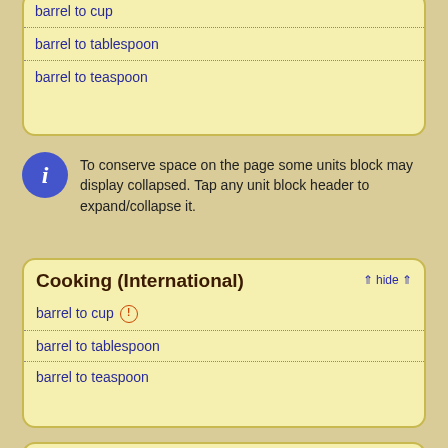barrel to cup
barrel to tablespoon
barrel to teaspoon
To conserve space on the page some units block may display collapsed. Tap any unit block header to expand/collapse it.
Cooking (International)
barrel to cup
barrel to tablespoon
barrel to teaspoon
Cooking (Australian)
Units: tablespoon / dessert teaspoon / teaspoon
Natural units